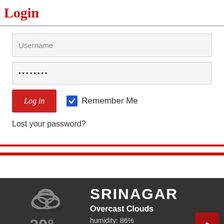Login
[Figure (screenshot): Login form with Username input field, password field with dots, Log in button, Remember Me checkbox, and Lost your password? link]
Today's Weather
[Figure (infographic): Weather widget showing SRINAGAR, Overcast Clouds, humidity: 86%, wind: 0km/h WNW, temperature 20°C, cloud icon, scroll-to-top button]